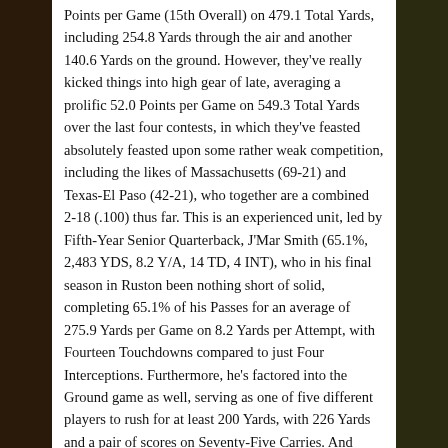Points per Game (15th Overall) on 479.1 Total Yards, including 254.8 Yards through the air and another 140.6 Yards on the ground. However, they've really kicked things into high gear of late, averaging a prolific 52.0 Points per Game on 549.3 Total Yards over the last four contests, in which they've feasted absolutely feasted upon some rather weak competition, including the likes of Massachusetts (69-21) and Texas-El Paso (42-21), who together are a combined 2-18 (.100) thus far. This is an experienced unit, led by Fifth-Year Senior Quarterback, J'Mar Smith (65.1%, 2,483 YDS, 8.2 Y/A, 14 TD, 4 INT), who in his final season in Ruston been nothing short of solid, completing 65.1% of his Passes for an average of 275.9 Yards per Game on 8.2 Yards per Attempt, with Fourteen Touchdowns compared to just Four Interceptions. Furthermore, he's factored into the Ground game as well, serving as one of five different players to rush for at least 200 Yards, with 226 Yards and a pair of scores on Seventy-Five Carries. And speaking of rushing, Junior Tailback, Justin Henderson (109 CAR, 712 YDS, 6.5 Y/C, 14 TD), has been their most prominent in that